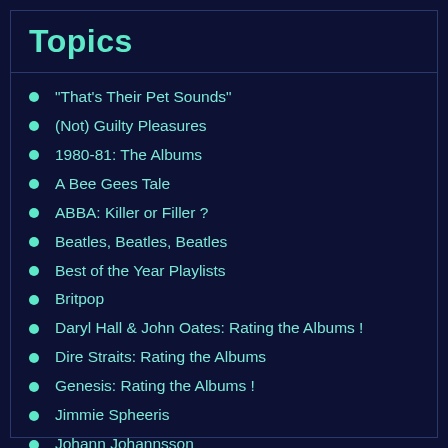Topics
"That's Their Pet Sounds"
(Not) Guilty Pleasures
1980-81: The Albums
A Bee Gees Tale
ABBA: Killer or Filler ?
Beatles, Beatles, Beatles
Best of the Year Playlists
Britpop
Daryl Hall & John Oates: Rating the Albums !
Dire Straits: Rating the Albums
Genesis: Rating the Albums !
Jimmie Spheeris
Johann Johannsson
Journey : An AOR Story
Kate Bush: Rating the Albums !